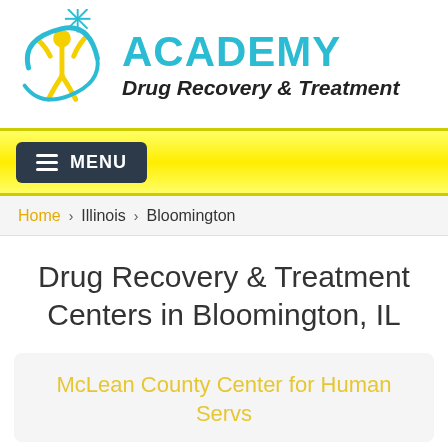[Figure (logo): Academy Drug Recovery & Treatment logo with a stylized human figure raising arms with a star burst, and circular swoosh in teal/blue, figure in yellow, with text ACADEMY Drug Recovery & Treatment]
MENU
Home › Illinois › Bloomington
Drug Recovery & Treatment Centers in Bloomington, IL
McLean County Center for Human Servs